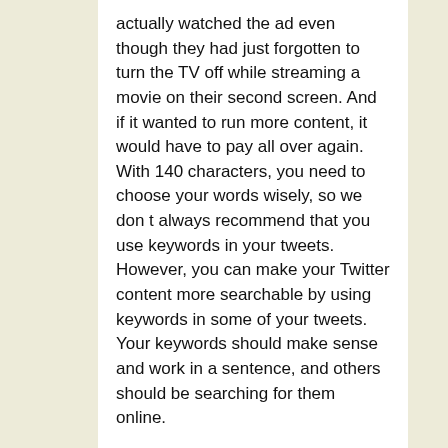actually watched the ad even though they had just forgotten to turn the TV off while streaming a movie on their second screen. And if it wanted to run more content, it would have to pay all over again. With 140 characters, you need to choose your words wisely, so we don t always recommend that you use keywords in your tweets. However, you can make your Twitter content more searchable by using keywords in some of your tweets. Your keywords should make sense and work in a sentence, and others should be searching for them online.
[Figure (other): Facebook share button with 'f' logo icon and label 'Condividi']